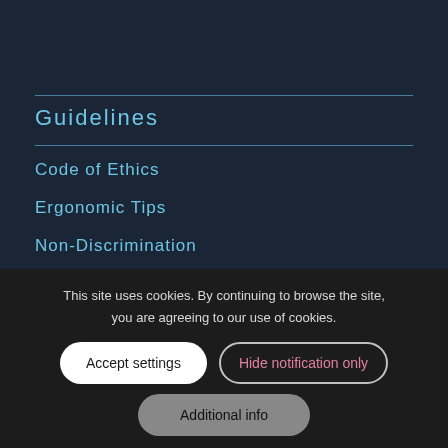Guidelines
Code of Ethics
Ergonomic Tips
Non-Discrimination
Privacy Policy
Cookies Policy
Credits
Images by @Freepik
Services Icons by Flaticon
This site uses cookies. By continuing to browse the site, you are agreeing to our use of cookies.
Accept settings
Hide notification only
Additional info